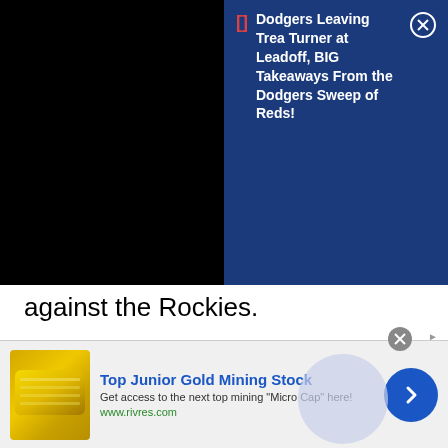[Figure (screenshot): Notification overlay with black video region on left and dark blue notification panel on right showing: '[] Dodgers Leaving Trea Turner at Leadoff, BIG Takeaways From the Dodgers Sweep of Reds!']
against the Rockies.
Although, Coors Field is known as a hitter’s haven, the Dodgers’ bullpen did seemingly everything wrong this series.
Things started out well enough as Randy
[Figure (screenshot): Bottom advertisement banner: 'Top Junior Gold Mining Stock - Get access to the next top mining "Micro Cap" here! www.rivres.com' with gold bar image and blue arrow button]